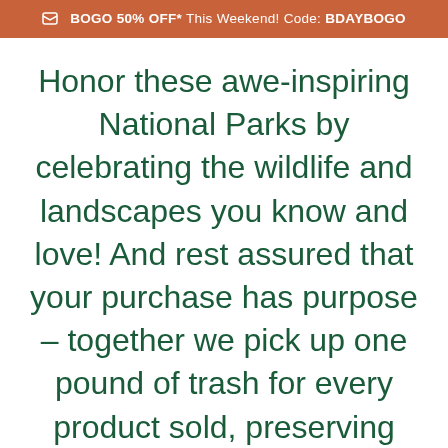BOGO 50% OFF* This Weekend! Code: BDAYBOGO
Honor these awe-inspiring National Parks by celebrating the wildlife and landscapes you know and love! And rest assured that your purchase has purpose – together we pick up one pound of trash for every product sold, preserving and maintaining this beautiful planet we call home.